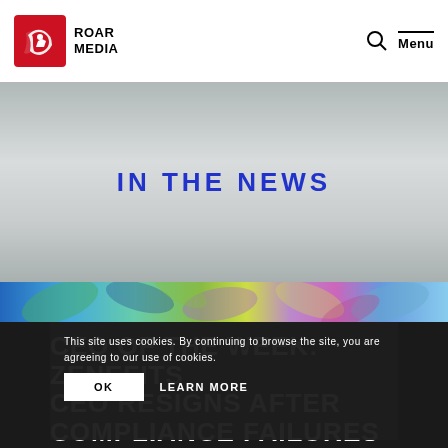ROAR MEDIA — Menu
[Figure (illustration): Roar Media logo — red square with roaring animal silhouette, followed by bold text ROAR MEDIA]
IN THE NEWS
[Figure (photo): Colorful artistic strip showing tropical leaves with blue, green, purple hues]
CEO OF THE WEEK: ZENEFITS CEO RESIGNS AFTER COMPLIANCE FAILURES
This site uses cookies. By continuing to browse the site, you are agreeing to our use of cookies.
OK    LEARN MORE